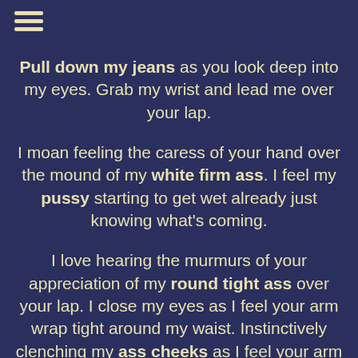Pull down my jeans as you look deep into my eyes.  Grab my wrist and lead me over your lap.
I moan feeling the caress of your hand over the mound of my white firm ass.  I feel my pussy starting to get wet already just knowing what's coming.
I love hearing the murmurs of your appreciation of my round tight ass over your lap.  I close my eyes as I feel your arm wrap tight around my waist.  Instinctively clenching my ass cheeks as I feel your arm draw back lifting into the air.
My head releases toward the floor with the first stinging slap as I feel the gentle pain radiating through...